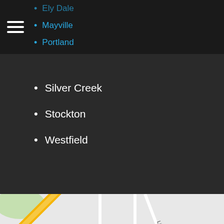Ely Dale
Mayville
Portland
Silver Creek
Stockton
Westfield
[Figure (map): Google Maps view showing Elm Street Playground in Silver Creek area, with streets including Cleveland Ave, Link St, Moore Ave, Orchard St, Elm St, Union St, Cushing St, Green St, Gillis St, Liberty St, and Lakeview Ave. A map pin marks Elm Street Playground with a green tree icon nearby labeled Outpour Church of God.]